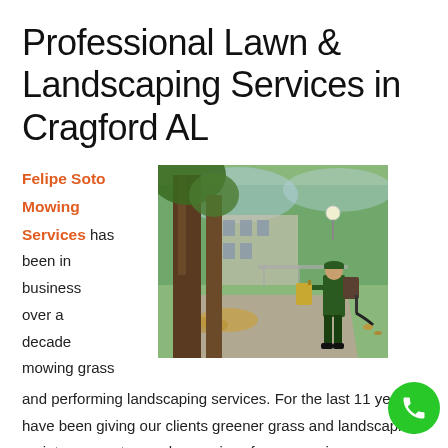Professional Lawn & Landscaping Services in Cragford AL
Felipe Soto Mowing Services has been in business over a decade mowing grass and performing landscaping services. For the last 11 years have been giving our clients greener grass and landscaping maintenance at very cheap prices for anyone in or near
[Figure (photo): A landscaping worker in green uniform using a leaf blower in a park with trees]